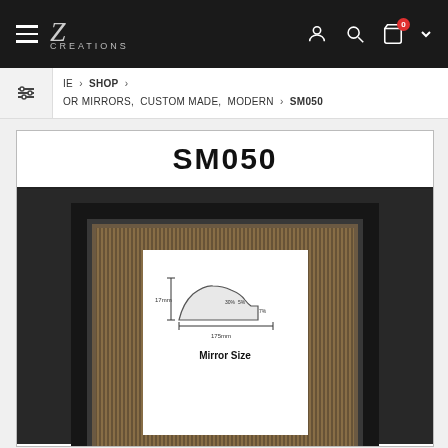Z Creations — navigation bar with hamburger menu, logo, user icon, search icon, cart (0)
IE > SHOP > OR MIRRORS, CUSTOM MADE, MODERN > SM050
SM050
[Figure (photo): SM050 mirror frame product page showing a dark/black ornate mirror frame with gold inner beading and a white center displaying a cross-section profile diagram of the frame moulding with dimensions (17mm height, 175mm width). Below the diagram text reads 'Mirror Size'.]